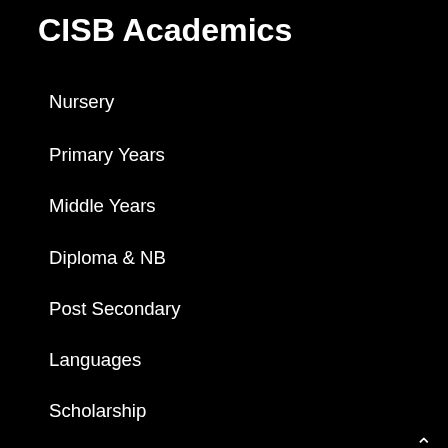CISB Academics
Nursery
Primary Years
Middle Years
Diploma & NB
Post Secondary
Languages
Scholarship
CISB Programs
After-School Activities (ASA)
Canadian Academic Academy Program